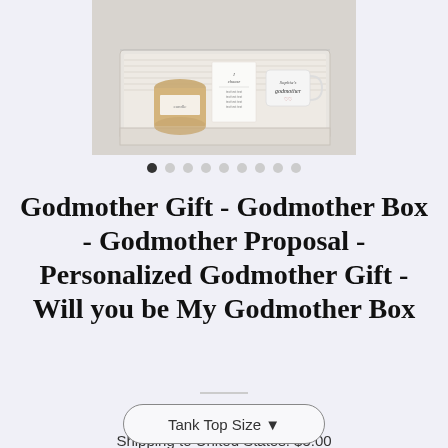[Figure (photo): A white gift box containing a candle jar, a card with text, and a personalized mug reading 'Sophia's Godmother', displayed on a light textured background.]
Godmother Gift - Godmother Box - Godmother Proposal - Personalized Godmother Gift - Will you be My Godmother Box
$45.90 $54.00
Shipping to United States: $5.00
Tank Top Size